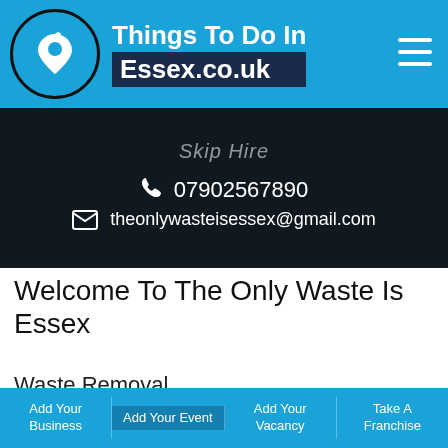[Figure (logo): Things To Do In Essex.co.uk website header with circular location pin logo on blue background and hamburger menu icon]
Skip Hire
07902567890
theonlywasteisessex@gmail.com
Welcome To The Only Waste Is Essex
Waste Removal
Add Your Business | Add Your Event | Add Your Vacancy | Take A Franchise